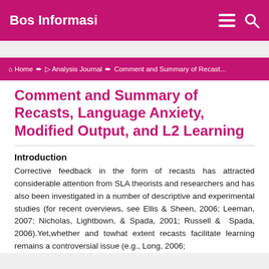Bos Informasi
Home > Analysis Journal > Comment and Summary of Recast...
Comment and Summary of Recasts, Language Anxiety, Modified Output, and L2 Learning
Introduction
Corrective feedback in the form of recasts has attracted considerable attention from SLA theorists and researchers and has also been investigated in a number of descriptive and experimental studies (for recent overviews, see Ellis & Sheen, 2006; Leeman, 2007; Nicholas, Lightbown, & Spada, 2001; Russell & Spada, 2006).Yet,whether and towhat extent recasts facilitate learning remains a controversial issue (e.g., Long, 2006;